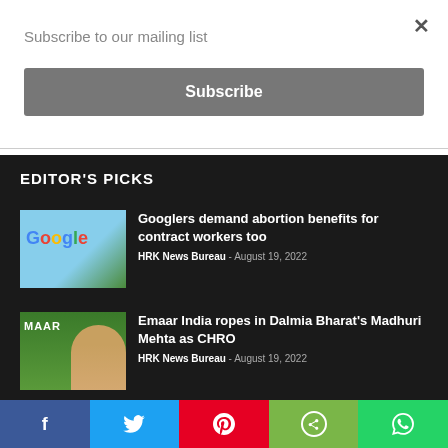Subscribe to our mailing list
Subscribe
EDITOR'S PICKS
Googlers demand abortion benefits for contract workers too
HRK News Bureau - August 19, 2022
[Figure (photo): Google building exterior with blue sky and trees]
Emaar India ropes in Dalmia Bharat's Madhuri Mehta as CHRO
HRK News Bureau - August 19, 2022
[Figure (photo): Emaar India logo with woman in yellow saree]